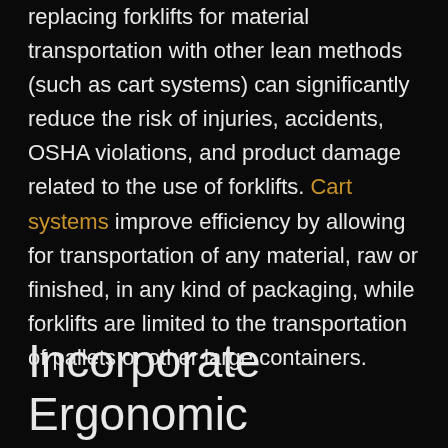replacing forklifts for material transportation with other lean methods (such as cart systems) can significantly reduce the risk of injuries, accidents, OSHA violations, and product damage related to the use of forklifts. Cart systems improve efficiency by allowing for transportation of any material, raw or finished, in any kind of packaging, while forklifts are limited to the transportation of pallets or other large containers.
Incorporate Ergonomic